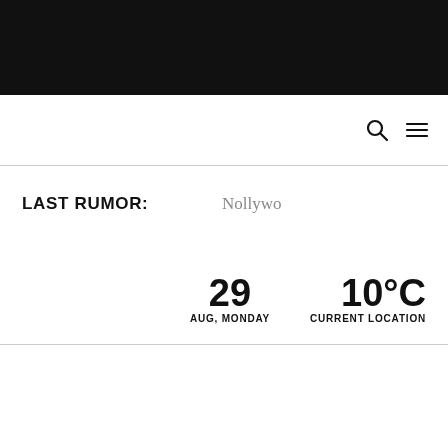[Figure (screenshot): Black header bar at top of webpage]
Search and menu icons (navigation bar)
LAST RUMOR: Nollywo
29 AUG, MONDAY  10°C CURRENT LOCATION